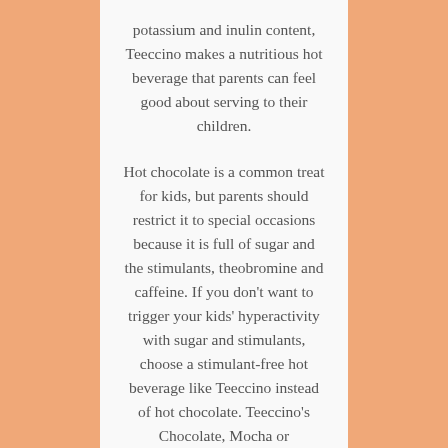potassium and inulin content, Teeccino makes a nutritious hot beverage that parents can feel good about serving to their children.
Hot chocolate is a common treat for kids, but parents should restrict it to special occasions because it is full of sugar and the stimulants, theobromine and caffeine. If you don't want to trigger your kids' hyperactivity with sugar and stimulants, choose a stimulant-free hot beverage like Teeccino instead of hot chocolate. Teeccino's Chocolate, Mocha or Chocolate Mint flavors allow you to